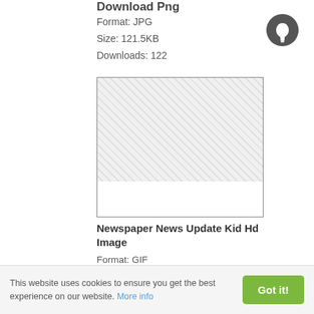Download Png
Format: JPG
Size: 121.5KB
Downloads: 122
[Figure (other): Placeholder image box with grey hatched pattern and white bottom strip]
Newspaper News Update Kid Hd Image
Format: GIF
Size: 27.4KB
Downloads: 120
This website uses cookies to ensure you get the best experience on our website. More info